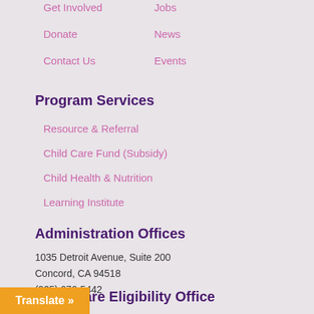Get Involved
Jobs
Donate
News
Contact Us
Events
Program Services
Resource & Referral
Child Care Fund (Subsidy)
Child Health & Nutrition
Learning Institute
Administration Offices
1035 Detroit Avenue, Suite 200
Concord, CA 94518
(925) 676-5442
Child Care Eligibility Office
Suite 200